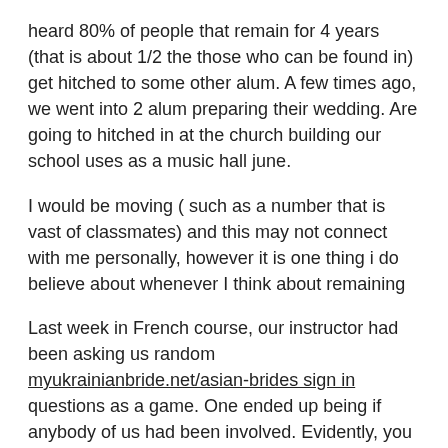heard 80% of people that remain for 4 years (that is about 1/2 the those who can be found in) get hitched to some other alum. A few times ago, we went into 2 alum preparing their wedding. Are going to hitched in at the church building our school uses as a music hall june.
I would be moving ( such as a number that is vast of classmates) and this may not connect with me personally, however it is one thing i do believe about whenever I think about remaining
Last week in French course, our instructor had been asking us random myukrainianbride.net/asian-brides sign in questions as a game. One ended up being if anybody of us had been involved. Evidently, you can find 3 children inside her other sections for french that are engaged. Just last year in my own ladies studies program, there have been 2 girls that are senior had been involved.